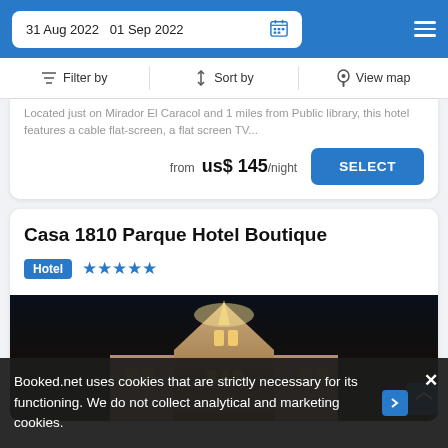31 Aug 2022   01 Sep 2022
Filter by   Sort by   View map
Located just on Mirador El Caracol and 1 miles from Public library, this hotel features a cable flat-screen, a flat screen TV...
from us$ 145/night
SELECT
Casa 1810 Parque Hotel Boutique
Hotel ★★★★★
[Figure (photo): Night-time photograph of Casa 1810 Parque Hotel Boutique building exterior, illuminated with warm yellow lights against a dark sky, showing a pointed Art Deco-style corner with arched windows]
Booked.net uses cookies that are strictly necessary for its functioning. We do not collect analytical and marketing cookies.